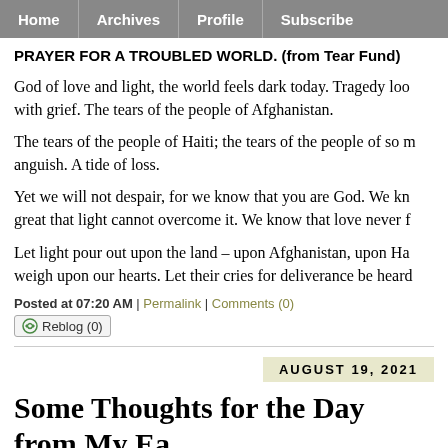Home | Archives | Profile | Subscribe
PRAYER FOR A TROUBLED WORLD. (from Tear Fund)
God of love and light, the world feels dark today. Tragedy loo with grief. The tears of the people of Afghanistan.
The tears of the people of Haiti; the tears of the people of so m anguish. A tide of loss.
Yet we will not despair, for we know that you are God. We kn great that light cannot overcome it. We know that love never f
Let light pour out upon the land – upon Afghanistan, upon Ha weigh upon our hearts. Let their cries for deliverance be heard
Posted at 07:20 AM | Permalink | Comments (0)
Reblog (0)
AUGUST 19, 2021
Some Thoughts for the Day from My Ea Reading...